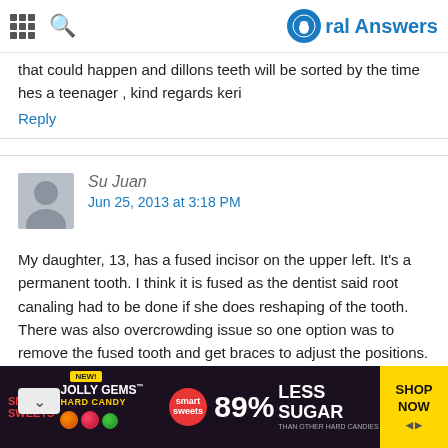Oral Answers
that could happen and dillons teeth will be sorted by the time hes a teenager , kind regards keri
Reply
Su Juan
Jun 25, 2013 at 3:18 PM
My daughter, 13, has a fused incisor on the upper left. It's a permanent tooth. I think it is fused as the dentist said root canaling had to be done if she does reshaping of the tooth. There was also overcrowding issue so one option was to remove the fused tooth and get braces to adjust the positions. But there was a symmetry problem and might affect the bite. In the end, dentist choose the least invasive method. She used resin to cosmetically cover the front and back groove of the he used some special light to bond the resin to the enamel.
[Figure (photo): Advertisement banner for Smart Sweets Jolly Gems hard candy, 89% less sugar than other hard candies, Shop Now button]